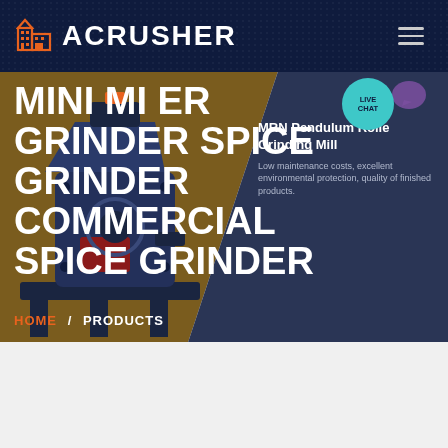ACRUSHER
MINI MI ER GRINDER SPICE GRINDER COMMERCIAL SPICE GRINDER
MRN Pendulum Rolle Grinding Mill
Low maintenance costs, excellent environmental protection, quality of finished products.
HOME / PRODUCTS